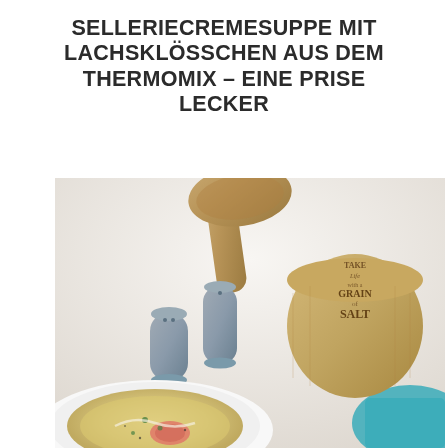SELLERIECREMESUPPE MIT LACHSKLÖSSCHEN AUS DEM THERMOMIX – EINE PRISE LECKER
[Figure (photo): Food photography showing a white bowl with creamy celery soup with salmon dumplings, grey salt and pepper shakers, a wooden spoon, and a round wooden salt container with engraved text 'Take Life with a Grain of Salt', on a white surface with a teal cloth in the background.]